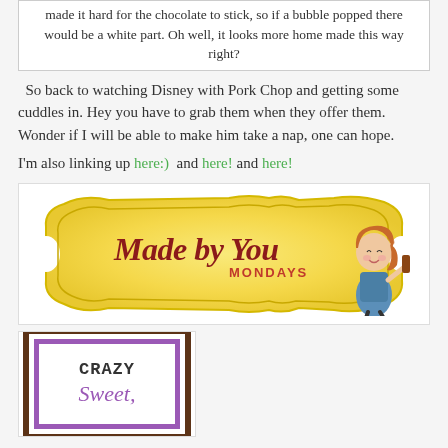made it hard for the chocolate to stick, so if a bubble popped there would be a white part.  Oh well, it looks more home made this way right?
So back to watching Disney with Pork Chop and getting some cuddles in. Hey you have to grab them when they offer them.  Wonder if I will be able to make him take a nap, one can hope.
I'm also linking up here:)  and here! and here!
[Figure (logo): Made by You Mondays banner with yellow decorative frame and cartoon girl character]
[Figure (logo): Crazy Sweet logo with brown and purple double border frame, text reads 'crazy Sweet']